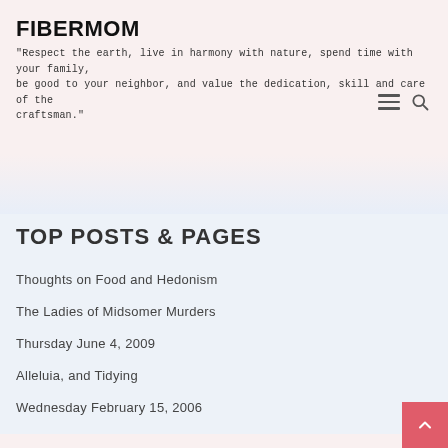FIBERMOM
"Respect the earth, live in harmony with nature, spend time with your family, be good to your neighbor, and value the dedication, skill and care of the craftsman."
TOP POSTS & PAGES
Thoughts on Food and Hedonism
The Ladies of Midsomer Murders
Thursday June 4, 2009
Alleluia, and Tidying
Wednesday February 15, 2006